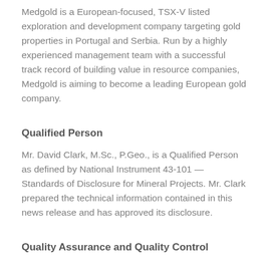Medgold is a European-focused, TSX-V listed exploration and development company targeting gold properties in Portugal and Serbia. Run by a highly experienced management team with a successful track record of building value in resource companies, Medgold is aiming to become a leading European gold company.
Qualified Person
Mr. David Clark, M.Sc., P.Geo., is a Qualified Person as defined by National Instrument 43-101 — Standards of Disclosure for Mineral Projects. Mr. Clark prepared the technical information contained in this news release and has approved its disclosure.
Quality Assurance and Quality Control